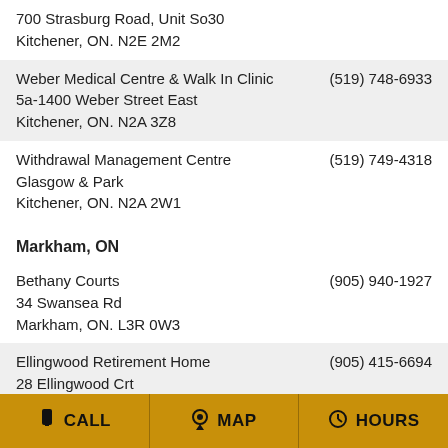700 Strasburg Road, Unit So30
Kitchener, ON. N2E 2M2
| Location | Phone |
| --- | --- |
| Weber Medical Centre & Walk In Clinic
5a-1400 Weber Street East
Kitchener, ON. N2A 3Z8 | (519) 748-6933 |
| Withdrawal Management Centre
Glasgow & Park
Kitchener, ON. N2A 2W1 | (519) 749-4318 |
Markham, ON
| Location | Phone |
| --- | --- |
| Bethany Courts
34 Swansea Rd
Markham, ON. L3R 0W3 | (905) 940-1927 |
| Ellingwood Retirement Home
28 Ellingwood Crt
Markham, ON. L3R 8A7 | (905) 415-6694 |
| Extendicare Inc
3000 Steeles Ave E #700
Markham, ON. L3R 9W2 | (905) 470-4000 |
CALL   MAP   HOURS